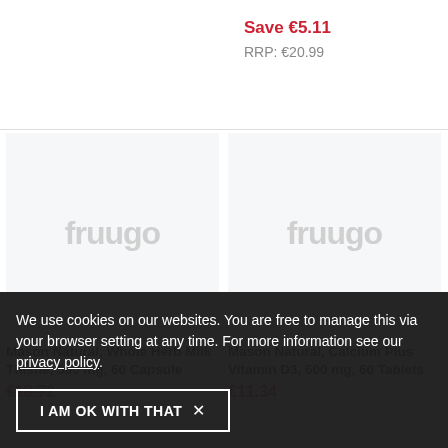Save €5.11
RRP: €20.99
[Figure (photo): Fruugo placeholder product image left - grey background with fruugo watermark logo]
Mason Natural, Whole Herb Milk Thistle, 500 mg, 60 Capsule
[Figure (photo): Fruugo placeholder product image right - grey background with fruugo watermark logo]
Mason Natural, Calcium Plus Vitamin D3, 600 mg, 60 Tablets
€11.34
€18.72
We use cookies on our websites. You are free to manage this via your browser setting at any time. For more information see our privacy policy.
I AM OK WITH THAT ×